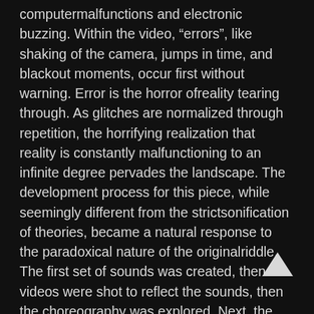computermalfunctions and electronic buzzing. Within the video, "errors", like shaking of the camera, jumps in time, and blackout moments, occur first without warning. Error is the horror ofreality tearing through. As glitches are normalized through repetition, the horrifying realization that reality is constantly malfunctioning to an infinite degree pervades the landscape. The development process for this piece, while seemingly different from the strictsonification of theories, became a natural response to the paradoxical nature of the originalriddle. The first set of sounds was created, then videos were shot to reflect the sounds, then the choreography was explored. Next, the videos were projected live withimprovisation, the projections were developed to follow the dancers with the MicrosoftKinect, separating the foreground projections from the background projections. Finally, thesound was developed to be improvisable, so the dancers could ebb & flow with the